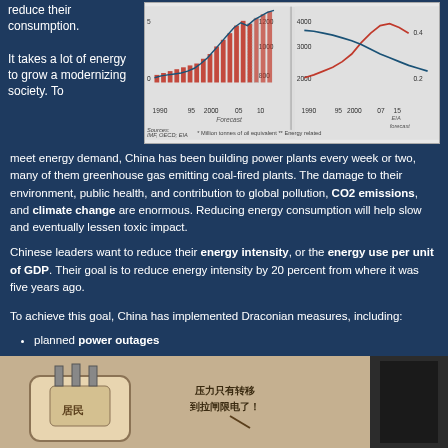reduce their consumption.
[Figure (continuous-plot): Two combined charts showing China energy data from 1990-2015. Left chart shows energy consumption in million tonnes of oil equivalent with red bars and blue line. Right chart shows CO2 emissions data with red line and blue line with EIA forecast. Sources: IMF, OECD, EIA.]
It takes a lot of energy to grow a modernizing society. To meet energy demand, China has been building power plants every week or two, many of them greenhouse gas emitting coal-fired plants. The damage to their environment, public health, and contribution to global pollution, CO2 emissions, and climate change are enormous. Reducing energy consumption will help slow and eventually lessen toxic impact.
Chinese leaders want to reduce their energy intensity, or the energy use per unit of GDP. Their goal is to reduce energy intensity by 20 percent from where it was five years ago.
To achieve this goal, China has implemented Draconian measures, including:
planned power outages
shutting down more than 2,000 outdated factories in heavy industry
turning off traffic lights in some areas
[Figure (illustration): Chinese cartoon/illustration showing a pressure gauge or meter with Chinese characters. Text in image reads: 压力只有转移 到拉闸限电了！ (The pressure can only be transferred to power rationing!)]